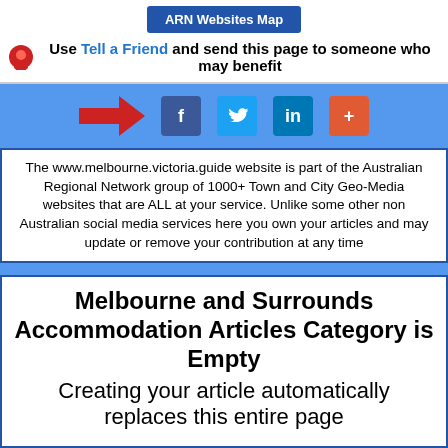ARN Websites Map
Use Tell a Friend and send this page to someone who may benefit
[Figure (infographic): Red arrow pointing right indicating share direction, followed by social share buttons: Facebook (f), Twitter (bird), LinkedIn (in), and an orange plus (+) button, on a blue background]
The www.melbourne.victoria.guide website is part of the Australian Regional Network group of 1000+ Town and City Geo-Media websites that are ALL at your service. Unlike some other non Australian social media services here you own your articles and may update or remove your contribution at any time
Melbourne and Surrounds Accommodation Articles Category is Empty
Creating your article automatically replaces this entire page